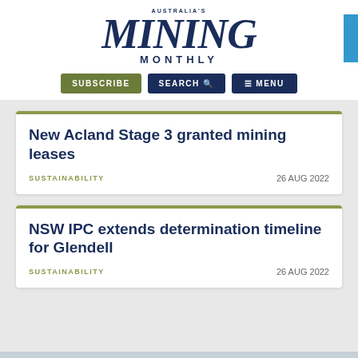AUSTRALIA'S MINING MONTHLY
SUBSCRIBE  SEARCH  MENU
New Acland Stage 3 granted mining leases
SUSTAINABILITY    26 AUG 2022
NSW IPC extends determination timeline for Glendell
SUSTAINABILITY    26 AUG 2022